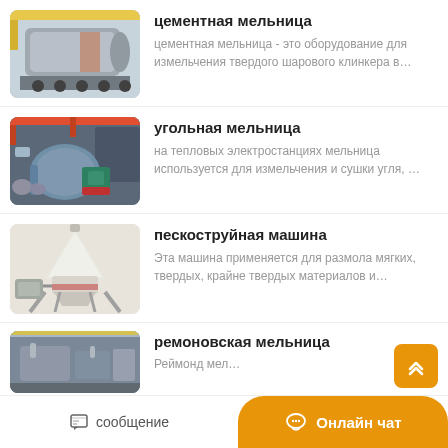[Figure (photo): Industrial cement mill cylindrical drum on transport vehicle in outdoor yard]
цементная мельница
цементная мельница - это оборудование для измельчения твердого шарового клинкера в…
[Figure (photo): Coal mill machinery inside industrial factory hall with green motor unit]
угольная мельница
на тепловых электростанциях мельница используется для измельчения и сушки угля, …
[Figure (photo): Sand blasting machine white cone-shaped industrial equipment]
пескоструйная машина
Эта машина применяется для размола мягких, твердых, крайне твердых материалов и…
[Figure (photo): Raymond mill industrial equipment in factory setting]
ремоновская мельница
Реймонд мел…
сообщение   Онлайн чат